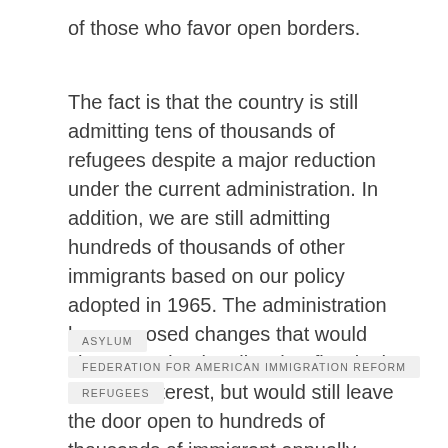of those who favor open borders.
The fact is that the country is still admitting tens of thousands of refugees despite a major reduction under the current administration. In addition, we are still admitting hundreds of thousands of other immigrants based on our policy adopted in 1965. The administration has proposed changes that would change and rationalize that flow in the national interest, but would still leave the door open to hundreds of thousands of immigrant annually.
ASYLUM
FEDERATION FOR AMERICAN IMMIGRATION REFORM
REFUGEES